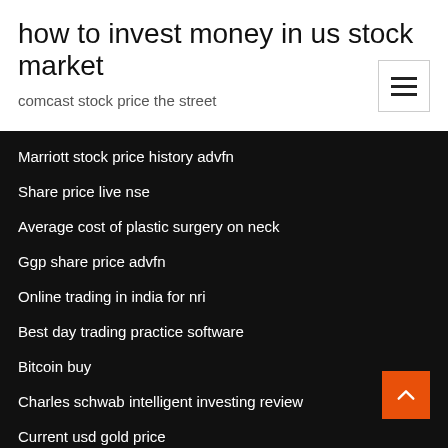how to invest money in us stock market
comcast stock price the street
Marriott stock price history advfn
Share price live nse
Average cost of plastic surgery on neck
Ggp share price advfn
Online trading in india for nri
Best day trading practice software
Bitcoin buy
Charles schwab intelligent investing review
Current usd gold price